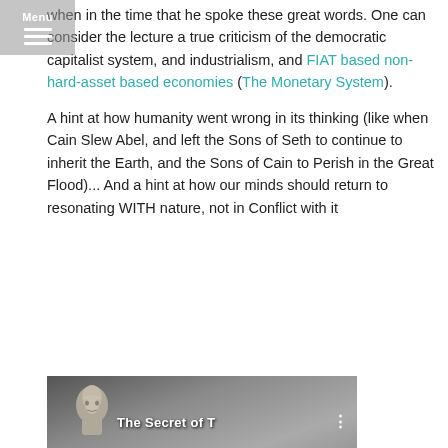Menu
when in the time that he spoke these great words. One can consider the lecture a true criticism of the democratic capitalist system, and industrialism, and FIAT based non-hard-asset based economies (The Monetary System).
A hint at how humanity went wrong in its thinking (like when Cain Slew Abel, and left the Sons of Seth to continue to inherit the Earth, and the Sons of Cain to Perish in the Great Flood)... And a hint at how our minds should return to resonating WITH nature, not in Conflict with it
[Figure (screenshot): Thumbnail image with a classical bust/face on left and text 'The Secret of T' with dots on the right, on a dark gray background]